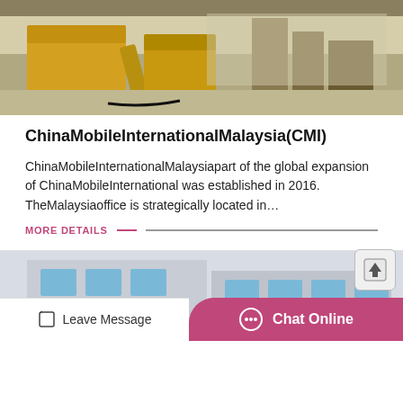[Figure (photo): Industrial warehouse interior with large yellow heavy machinery/trucks and stacked materials in background]
ChinaMobileInternationalMalaysia(CMI)
ChinaMobileInternationalMalaysiapart of the global expansion of ChinaMobileInternational was established in 2016. TheMalaysiaoffice is strategically located in…
MORE DETAILS
[Figure (photo): Office building exterior with blue windows and stone/concrete facade]
Leave Message
Chat Online